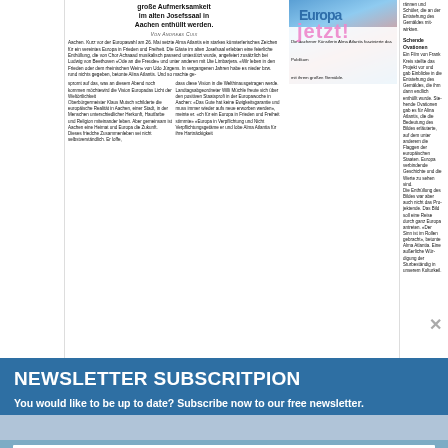[Figure (screenshot): Newspaper article page in German about European art event in Aachen, with photo of artist Alma Atlantis and her painting]
Die Aachener Künstlerin Alma Atlantis faszinierte das Publikum mit ihrem großen Gemälde.
NEWSLETTER SUBSCRITPION
You would like to be up to date? Subscribe now to our free newsletter.
First name...
Last name...
Mail
Language? EN...
Senden